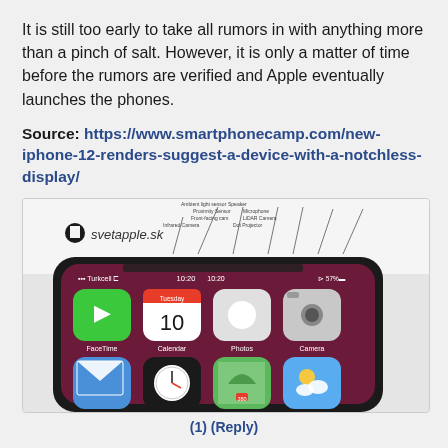It is still too early to take all rumors in with anything more than a pinch of salt. However, it is only a matter of time before the rumors are verified and Apple eventually launches the phones.
Source: https://www.smartphonecamp.com/new-iphone-12-renders-suggest-a-device-with-a-notchless-display/
[Figure (photo): Screenshot/render of an iPhone concept showing a notchless display with iOS home screen. Shows sveltapple.sk branding and a diagram of internal components above. Home screen shows FaceTime, Calendar, Photos, Camera, Mail, Clock, Maps, Weather apps. Status bar shows Turkcell carrier, 10:20 time, 57% battery.]
(1) (Reply)